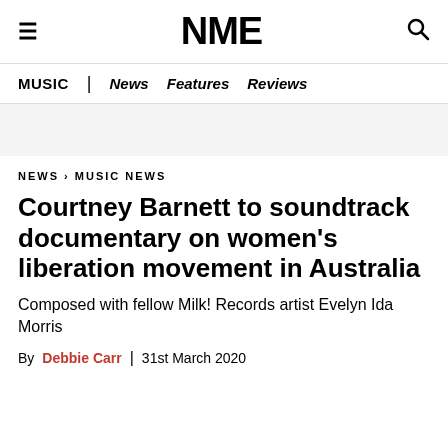NME
MUSIC | News Features Reviews
NEWS › MUSIC NEWS
Courtney Barnett to soundtrack documentary on women's liberation movement in Australia
Composed with fellow Milk! Records artist Evelyn Ida Morris
By Debbie Carr | 31st March 2020